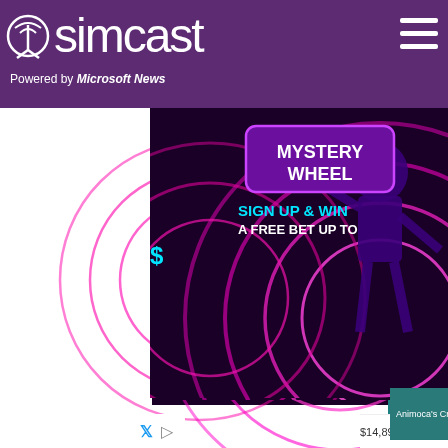simcast – Powered by Microsoft News
[Figure (screenshot): Mystery Wheel advertisement banner with purple neon spiral background, cricket player silhouette, text: MYSTERY WHEEL, SIGN UP & WIN, A FREE BET UP TO]
[Figure (screenshot): Animoca's Crypto Gaming Ambition video popup with mute button, showing Asian man being interviewed in colorful room. Header bar reads: Animoca's Crypto Gaming Ambition with X close button.]
This we
We use them to give you the be will assume that you are
Co
[Figure (screenshot): Leibish jewelry advertisement showing logo LEIBISH and gemstone jewelry items with prices: $14,897  $30,971  $33,950  $52,14]
$14,897  $30,971  $33,950  $52,14